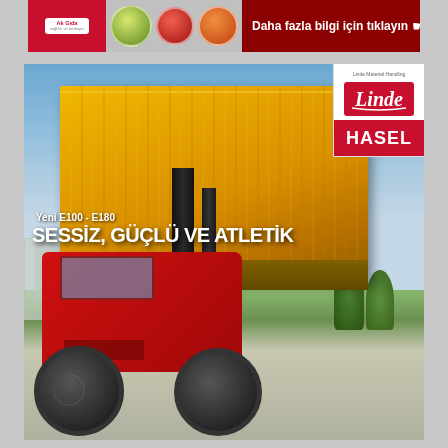[Figure (photo): Ak Gida banner advertisement with red background and food product images. Text reads: Daha fazla bilgi için tıklayın with cursor icon.]
[Figure (photo): Linde HASEL forklift advertisement showing a large red forklift (Linde E100-E180 series) lifting a yellow shipping container against a sky background. Text overlay: Yeni E100 - E180, SESSİZ, GÜÇLÜ VE ATLETİK. Linde Material Handling and HASEL logos shown in upper right corner.]